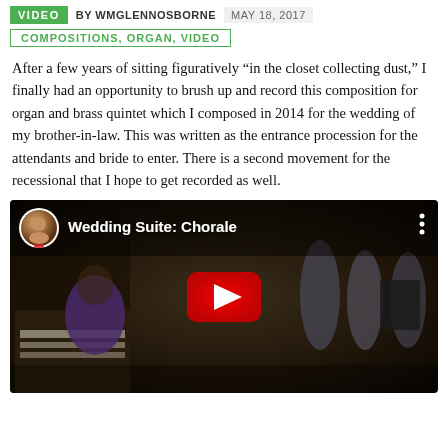VIDEO  BY WMGLENNOSBORNE  MAY 18, 2017
COMPOSITIONS, ORGAN, VIDEO
After a few years of sitting figuratively “in the closet collecting dust,” I finally had an opportunity to brush up and record this composition for organ and brass quintet which I composed in 2014 for the wedding of my brother-in-law. This was written as the entrance procession for the attendants and bride to enter. There is a second movement for the recessional that I hope to get recorded as well.
[Figure (screenshot): YouTube video embed thumbnail showing a musician playing a large pipe organ with brass quintet players visible in the background in a darkened church setting. Video title reads 'Wedding Suite: Chorale' with a circular avatar of the author in the top left and a large red YouTube play button in the center.]